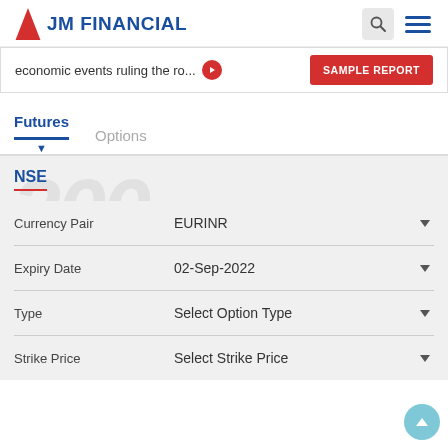JM FINANCIAL
economic events ruling the ro...
SAMPLE REPORT
Futures   Options
NSE
| Field | Value |
| --- | --- |
| Currency Pair | EURINR |
| Expiry Date | 02-Sep-2022 |
| Type | Select Option Type |
| Strike Price | Select Strike Price |